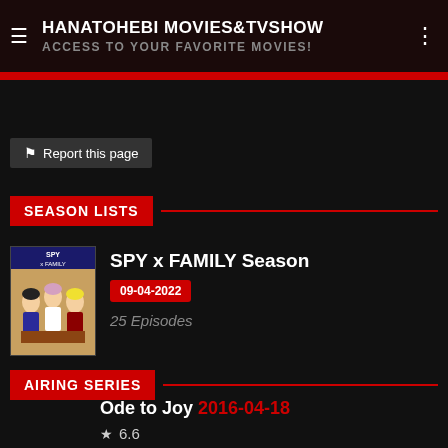HANATOHEBI MOVIES&TVSHOW — ACCESS TO YOUR FAVORITE MOVIES!
Report this page
SEASON LISTS
SPY x FAMILY Season
09-04-2022
25 Episodes
AIRING SERIES
Ode to Joy 2016-04-18
★ 6.6
♥ 5  Likes